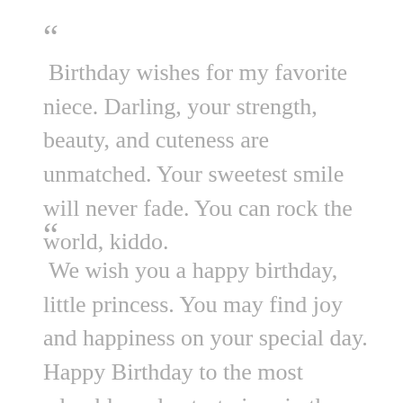“ Birthday wishes for my favorite niece. Darling, your strength, beauty, and cuteness are unmatched. Your sweetest smile will never fade. You can rock the world, kiddo.
“ We wish you a happy birthday, little princess. You may find joy and happiness on your special day. Happy Birthday to the most adorable and cutest niece in the world.